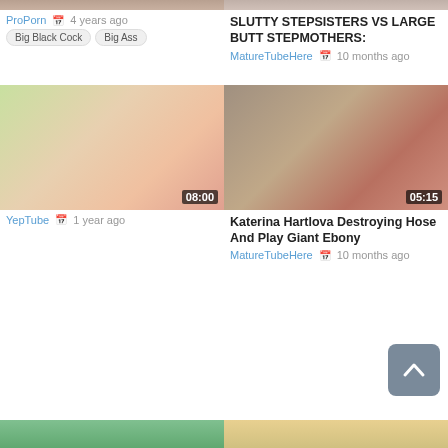[Figure (screenshot): Top partial thumbnail strip left]
[Figure (screenshot): Top partial thumbnail strip right]
ProPorn
4 years ago
SLUTTY STEPSISTERS VS LARGE BUTT STEPMOTHERS:
MatureTubeHere
10 months ago
Big Black Cock
Big Ass
[Figure (screenshot): Video thumbnail left, duration 08:00]
[Figure (screenshot): Video thumbnail right, duration 05:15]
YepTube
1 year ago
Katerina Hartlova Destroying Hose And Play Giant Ebony
MatureTubeHere
10 months ago
[Figure (screenshot): Bottom partial thumbnail strip left]
[Figure (screenshot): Bottom partial thumbnail strip right]